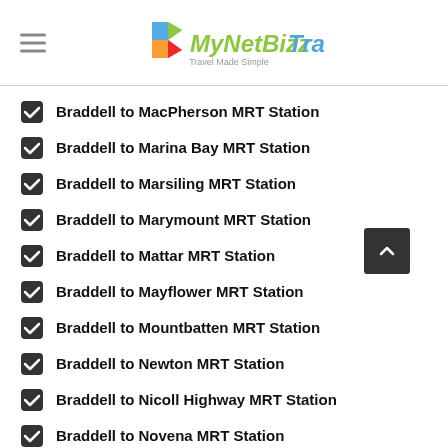MyNetBizz Travel — Travel Made Simple
Braddell to MacPherson MRT Station
Braddell to Marina Bay MRT Station
Braddell to Marsiling MRT Station
Braddell to Marymount MRT Station
Braddell to Mattar MRT Station
Braddell to Mayflower MRT Station
Braddell to Mountbatten MRT Station
Braddell to Newton MRT Station
Braddell to Nicoll Highway MRT Station
Braddell to Novena MRT Station
Braddell to One-North MRT Station